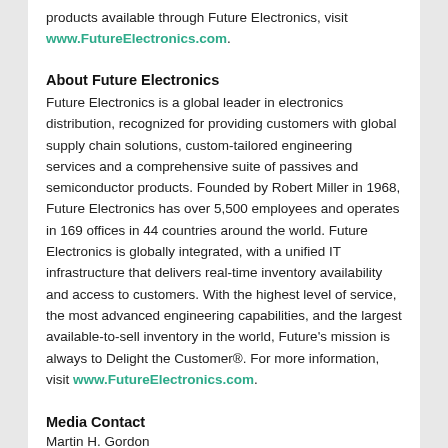products available through Future Electronics, visit www.FutureElectronics.com.
About Future Electronics
Future Electronics is a global leader in electronics distribution, recognized for providing customers with global supply chain solutions, custom-tailored engineering services and a comprehensive suite of passives and semiconductor products. Founded by Robert Miller in 1968, Future Electronics has over 5,500 employees and operates in 169 offices in 44 countries around the world. Future Electronics is globally integrated, with a unified IT infrastructure that delivers real-time inventory availability and access to customers. With the highest level of service, the most advanced engineering capabilities, and the largest available-to-sell inventory in the world, Future's mission is always to Delight the Customer®. For more information, visit www.FutureElectronics.com.
Media Contact
Martin H. Gordon
Director, Corporate Communications